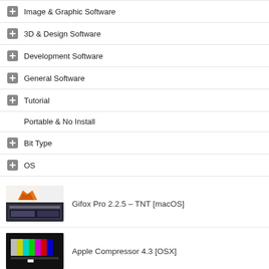Image & Graphic Software
3D & Design Software
Development Software
General Software
Tutorial
Portable & No Install
Bit Type
OS
Gifox Pro 2.2.5 – TNT [macOS]
Apple Compressor 4.3 [OSX]
Adobe – InDesign 2020 v15.0.1 Final [MacOS]